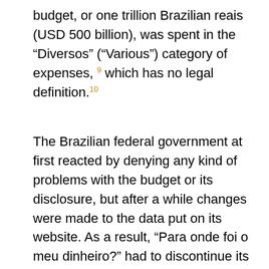budget, or one trillion Brazilian reais (USD 500 billion), was spent in the “Diversos” (“Various”) category of expenses, 9 which has no legal definition. 10
The Brazilian federal government at first reacted by denying any kind of problems with the budget or its disclosure, but after a while changes were made to the data put on its website. As a result, “Para onde foi o meu dinheiro?” had to discontinue its federal budget visualisation work, as some information was lacking from data published on the official federal website. The only graphics that “Para onde foi o meu dinheiro?” show now are the 2010, 2011 and 2012 São Paulo state budget visualisation. 11